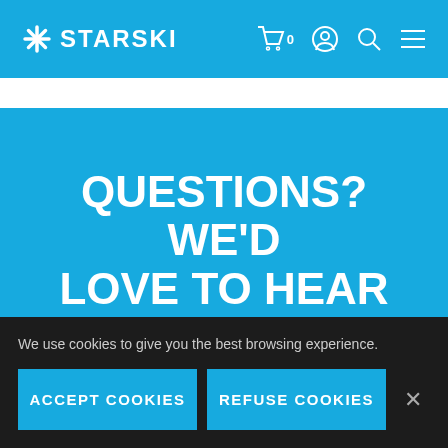STARSKI — navigation with cart, account, search, menu icons
QUESTIONS? WE'D LOVE TO HEAR FROM YOU.
GET IN TOUCH
We use cookies to give you the best browsing experience.
ACCEPT COOKIES
REFUSE COOKIES